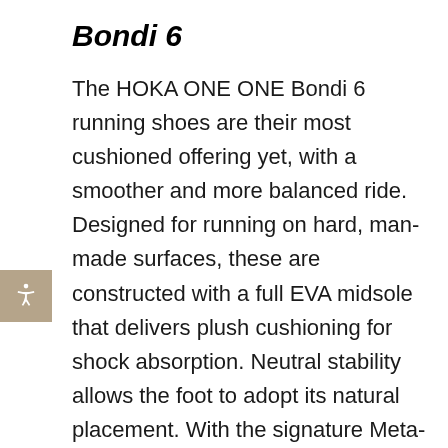Bondi 6
The HOKA ONE ONE Bondi 6 running shoes are their most cushioned offering yet, with a smoother and more balanced ride. Designed for running on hard, man-made surfaces, these are constructed with a full EVA midsole that delivers plush cushioning for shock absorption. Neutral stability allows the foot to adopt its natural placement. With the signature Meta-Rocker technology, your foot will naturally roll from impact to toe-off, complementing your normal gait cycle. The lightweight and breathable upper, compression set,